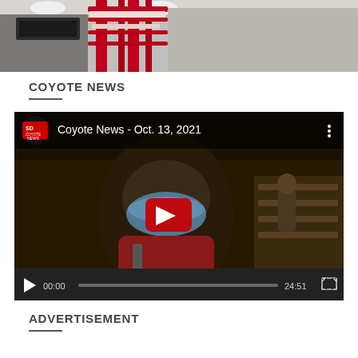[Figure (photo): Top photo showing a red metal rack/cart structure inside a building with overhead fluorescent lighting]
COYOTE NEWS
[Figure (screenshot): Embedded YouTube video player showing 'Coyote News - Oct. 13, 2021' with a person wearing a blue mask, SD Coyote News logo, play button, and controls showing 00:00 / 24:51]
ADVERTISEMENT